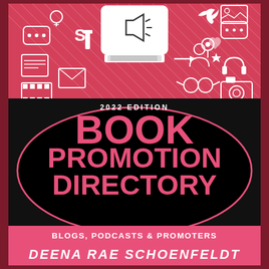[Figure (illustration): Book cover with pink and dark background showing social media icons, a megaphone on a TV screen, and speech bubble design]
2022 EDITION BOOK PROMOTION DIRECTORY
BLOGS, PODCASTS & PROMOTERS
DEENA RAE SCHOENFELDT